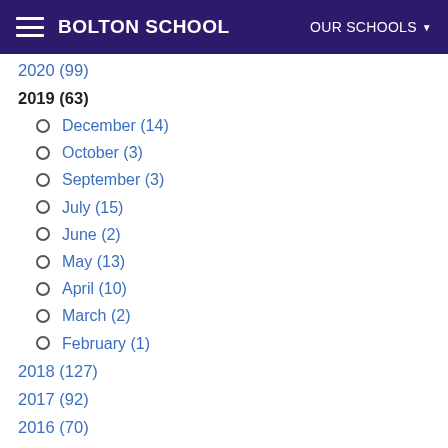BOLTON SCHOOL | OUR SCHOOLS
2020 (99)
2019 (63)
December (14)
October (3)
September (3)
July (15)
June (2)
May (13)
April (10)
March (2)
February (1)
2018 (127)
2017 (92)
2016 (70)
2015 (54)
2014 (22)
2013 (16)
2012 (18)
2011 (17)